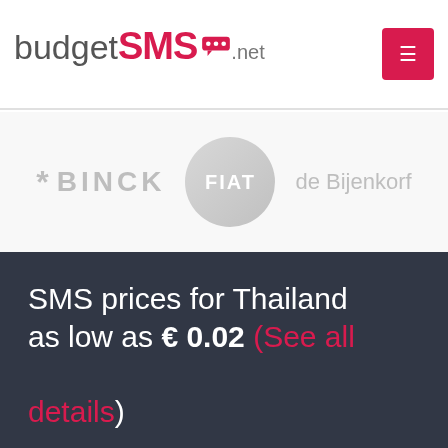budgetSMS.net
[Figure (logo): Brand logos: BINCK, FIAT (circular badge), de Bijenkorf — shown in grey]
SMS prices for Thailand as low as € 0.02 (See all details)
We cover all mobile network operators in Thailand, like: CAT , AIS , CAT, AIS, TrueMove